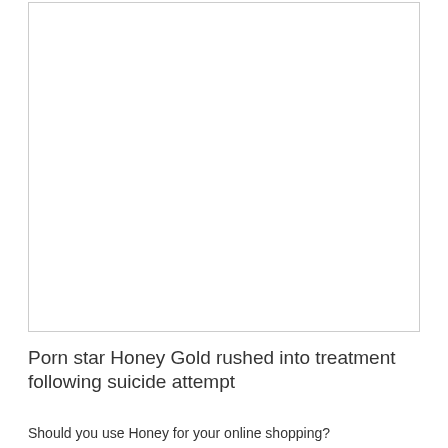[Figure (photo): White rectangular image placeholder with a thin gray border]
Porn star Honey Gold rushed into treatment following suicide attempt
Should you use Honey for your online shopping?